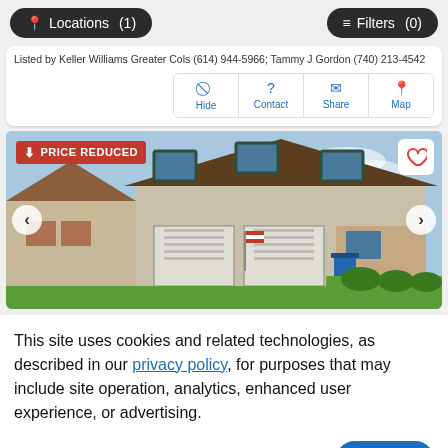Locations (1)   Filters (0)
Listed by Keller Williams Greater Cols (614) 944-5966; Tammy J Gordon (740) 213-4542
Hide | Contact | Share | Map
[Figure (photo): Two-story house with brown roof, two-car garage, green lawn, blue recycling bin in driveway. Label: PRICE REDUCED. Navigation arrows on left and right. Heart/favorite button top right.]
This site uses cookies and related technologies, as described in our privacy policy, for purposes that may include site operation, analytics, enhanced user experience, or advertising.
Manage Preferences   Accept